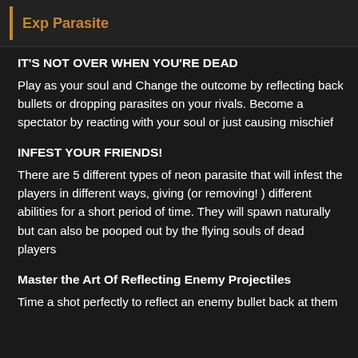Exp Parasite
IT'S NOT OVER WHEN YOU'RE DEAD
Play as your soul and Change the outcome by reflecting back bullets or dropping parasites on your rivals. Become a spectator by reacting with your soul or just causing mischief
INFEST YOUR FRIENDS!
There are 5 different types of neon parasite that will infest the players in different ways, giving (or removing! ) different abilities for a short period of time. They will spawn naturally but can also be pooped out by the flying souls of dead players
Master the Art Of Reflecting Enemy Projectiles
Time a shot perfectly to reflect an enemy bullet back at them